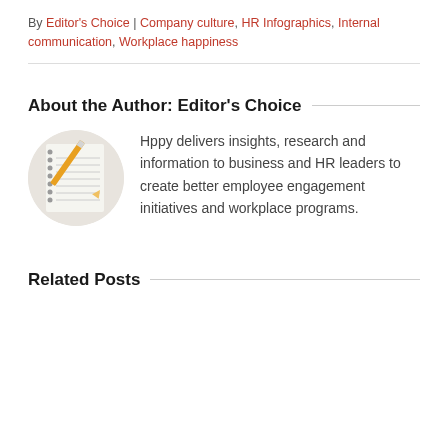By Editor's Choice | Company culture, HR Infographics, Internal communication, Workplace happiness
About the Author: Editor's Choice
[Figure (photo): Circular avatar photo showing a notebook with dotted lines and a pencil, on a white background]
Hppy delivers insights, research and information to business and HR leaders to create better employee engagement initiatives and workplace programs.
Related Posts